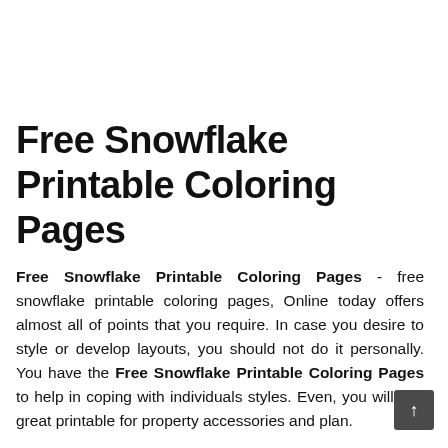Free Snowflake Printable Coloring Pages
Free Snowflake Printable Coloring Pages - free snowflake printable coloring pages, Online today offers almost all of points that you require. In case you desire to style or develop layouts, you should not do it personally. You have the Free Snowflake Printable Coloring Pages to help in coping with individuals styles. Even, you will find great printable for property accessories and plan.